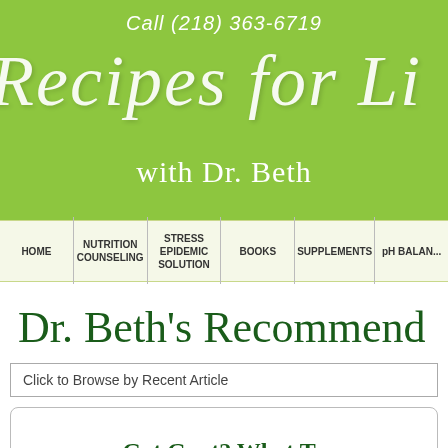Call (218) 363-6719
Recipes for L... with Dr. Beth
HOME | NUTRITION COUNSELING | STRESS EPIDEMIC SOLUTION | BOOKS | SUPPLEMENTS | pH BALAN...
Dr. Beth's Recommend...
Click to Browse by Recent Article
Got Gout? What To ...